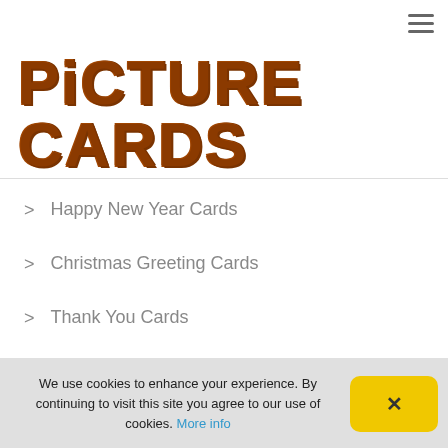PICTURE CARDS
Happy New Year Cards
Christmas Greeting Cards
Thank You Cards
New Year Greeting
Create Your Own Cards
We use cookies to enhance your experience. By continuing to visit this site you agree to our use of cookies. More info